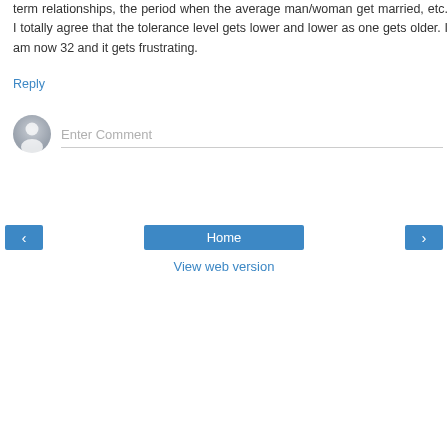term relationships, the period when the average man/woman get married, etc. I totally agree that the tolerance level gets lower and lower as one gets older. I am now 32 and it gets frustrating.
Reply
[Figure (illustration): User avatar placeholder icon - grey circle with silhouette]
Enter Comment
‹
Home
›
View web version